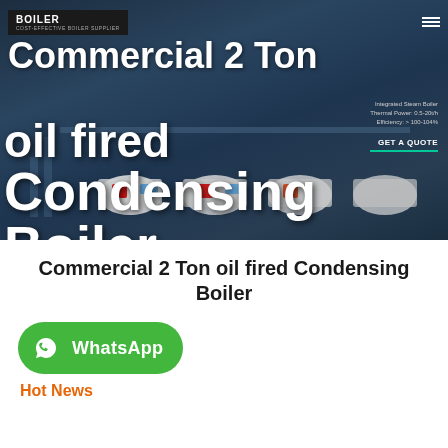[Figure (screenshot): Website hero banner showing industrial boilers in a dark blue-toned facility background with overlay text and navigation. Logo reads 'COST-EFFECTIVE BOILER SUPPLIER'. Large white bold text reads 'Commercial 2 Ton oil fired Condensing Boiler'. GET A QUOTE button with green underline.]
Commercial 2 Ton oil fired Condensing Boiler
[Figure (logo): WhatsApp button - green rounded rectangle with WhatsApp phone icon and 'WhatsApp' label in white]
Hot News